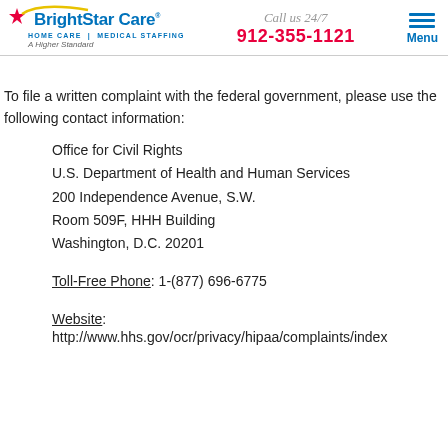BrightStar Care | HOME CARE | MEDICAL STAFFING | A Higher Standard | Call us 24/7 | 912-355-1121 | Menu
To file a written complaint with the federal government, please use the following contact information:
Office for Civil Rights
U.S. Department of Health and Human Services
200 Independence Avenue, S.W.
Room 509F, HHH Building
Washington, D.C. 20201
Toll-Free Phone: 1-(877) 696-6775
Website:
http://www.hhs.gov/ocr/privacy/hipaa/complaints/index